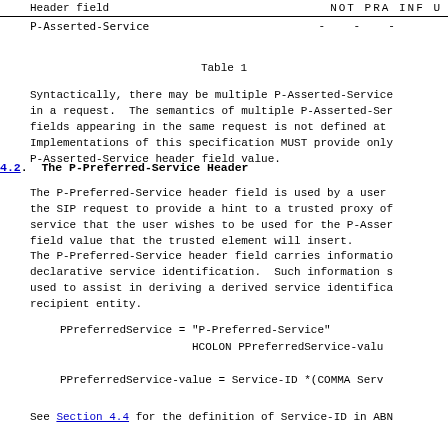| Header field | NOT PRA INF U |
| --- | --- |
| P-Asserted-Service | -    -    - |
Table 1
Syntactically, there may be multiple P-Asserted-Service in a request.  The semantics of multiple P-Asserted-Ser fields appearing in the same request is not defined at Implementations of this specification MUST provide only P-Asserted-Service header field value.
4.2.  The P-Preferred-Service Header
The P-Preferred-Service header field is used by a user the SIP request to provide a hint to a trusted proxy of service that the user wishes to be used for the P-Asser field value that the trusted element will insert.
The P-Preferred-Service header field carries informatio declarative service identification.  Such information s used to assist in deriving a derived service identifica recipient entity.
See Section 4.4 for the definition of Service-ID in ABN